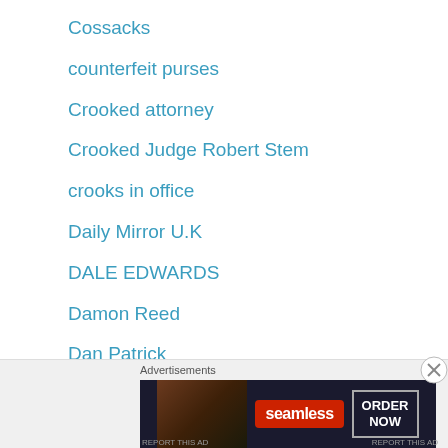Cossacks
counterfeit purses
Crooked attorney
Crooked Judge Robert Stem
crooks in office
Daily Mirror U.K
DALE EDWARDS
Damon Reed
Dan Patrick
Dan Patrick Granndparents
DAVID LACY
[Figure (screenshot): Advertisement banner for Seamless food delivery with pizza image, Seamless logo in red, and ORDER NOW button]